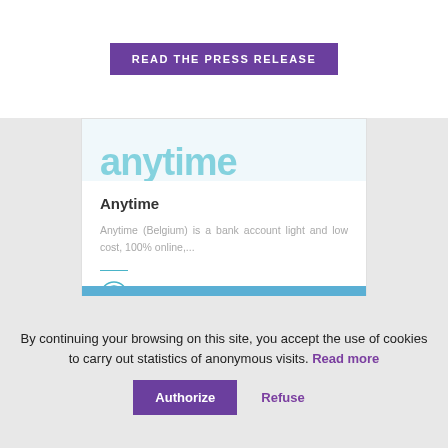READ THE PRESS RELEASE
Anytime
Anytime (Belgium) is a bank account light and low cost, 100% online,...
Fintech
BELGIUM
READ +
By continuing your browsing on this site, you accept the use of cookies to carry out statistics of anonymous visits. Read more
Authorize
Refuse